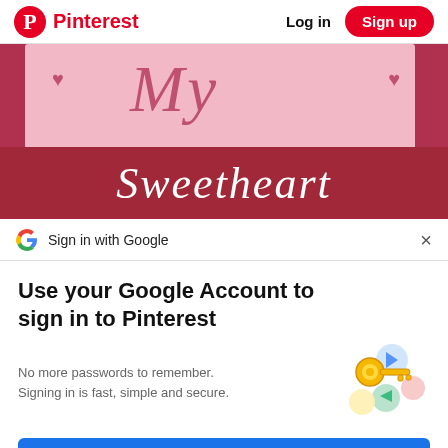Pinterest  Log in  Sign up
[Figure (photo): Photo of decorative wooden blocks with pink and red blocks. Pink block shows cursive 'My' with heart decorations. Red block below shows white cursive text partially visible (appears to say 'Sweetheart' or similar).]
Sign in with Google
Use your Google Account to sign in to Pinterest
No more passwords to remember. Signing in is fast, simple and secure.
[Figure (illustration): Google passkeys/security illustration showing a golden key with colorful circular credential icons (blue, green, yellow, pink)]
Continue